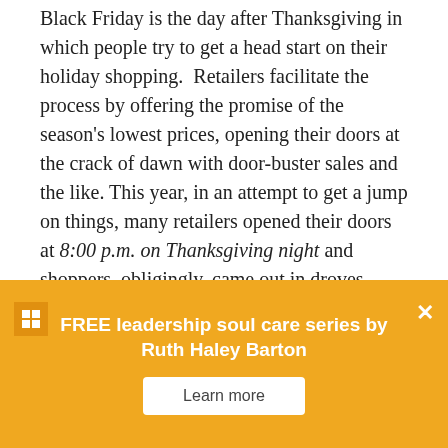Black Friday is the day after Thanksgiving in which people try to get a head start on their holiday shopping.  Retailers facilitate the process by offering the promise of the season's lowest prices, opening their doors at the crack of dawn with door-buster sales and the like. This year, in an attempt to get a jump on things, many retailers opened their doors at 8:00 p.m. on Thanksgiving night and shoppers, obligingly, came out in droves.
While admitting that it felt wrong to be out
We use cookies and non-personalized tracking information to help improve this site. However you can change those settings at any time. Find out more.
of lingering with family, shoppers were out
FREE leadership soul care series by Ruth Haley Barton
Learn more